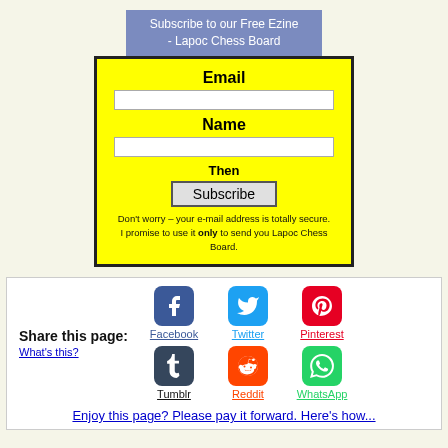Subscribe to our Free Ezine - Lapoc Chess Board
[Figure (infographic): Email subscription form with yellow background, fields for Email and Name, Subscribe button, and security notice]
Share this page:
What's this?
[Figure (infographic): Social share icons grid: Facebook, Twitter, Pinterest, Tumblr, Reddit, WhatsApp]
Enjoy this page? Please pay it forward. Here's how...